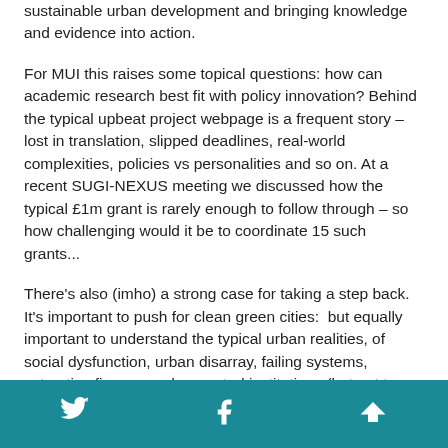sustainable urban development and bringing knowledge and evidence into action.
For MUI this raises some topical questions: how can academic research best fit with policy innovation? Behind the typical upbeat project webpage is a frequent story – lost in translation, slipped deadlines, real-world complexities, policies vs personalities and so on. At a recent SUGI-NEXUS meeting we discussed how the typical £1m grant is rarely enough to follow through – so how challenging would it be to coordinate 15 such grants...
There's also (imho) a strong case for taking a step back. It's important to push for clean green cities: but equally important to understand the typical urban realities, of social dysfunction, urban disarray, failing systems, extractive finance and corrupted institutions (but not to
Twitter | Facebook | Up